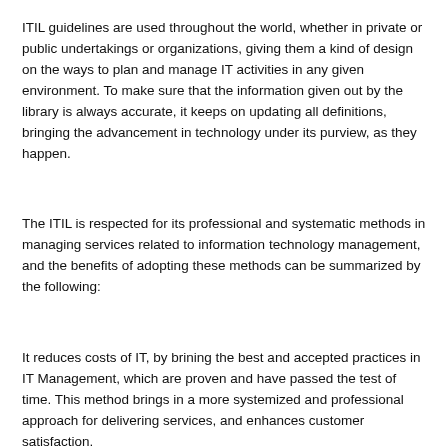ITIL guidelines are used throughout the world, whether in private or public undertakings or organizations, giving them a kind of design on the ways to plan and manage IT activities in any given environment. To make sure that the information given out by the library is always accurate, it keeps on updating all definitions, bringing the advancement in technology under its purview, as they happen.
The ITIL is respected for its professional and systematic methods in managing services related to information technology management, and the benefits of adopting these methods can be summarized by the following:
It reduces costs of IT, by brining the best and accepted practices in IT Management, which are proven and have passed the test of time. This method brings in a more systemized and professional approach for delivering services, and enhances customer satisfaction.
When ITIL methods are put into practice there will be an increase in productivity, even as the people who are looking after the management